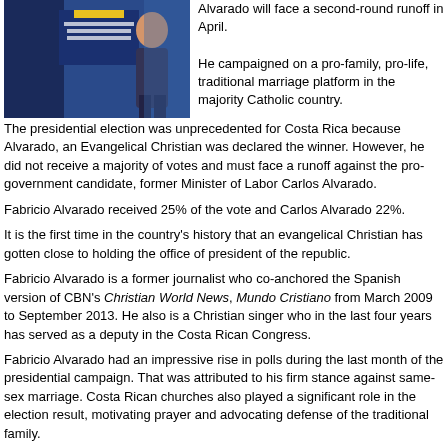[Figure (photo): Photo of a person standing in front of a Partido Restauración Nacional banner/backdrop in blue and dark colors]
Alvarado will face a second-round runoff in April. He campaigned on a pro-family, pro-life, traditional marriage platform in the majority Catholic country.
The presidential election was unprecedented for Costa Rica because Alvarado, an Evangelical Christian was declared the winner. However, he did not receive a majority of votes and must face a runoff against the pro-government candidate, former Minister of Labor Carlos Alvarado.
Fabricio Alvarado received 25% of the vote and Carlos Alvarado 22%.
It is the first time in the country's history that an evangelical Christian has gotten close to holding the office of president of the republic.
Fabricio Alvarado is a former journalist who co-anchored the Spanish version of CBN's Christian World News, Mundo Cristiano from March 2009 to September 2013. He also is a Christian singer who in the last four years has served as a deputy in the Costa Rican Congress.
Fabricio Alvarado had an impressive rise in polls during the last month of the presidential campaign. That was attributed to his firm stance against same-sex marriage. Costa Rican churches also played a significant role in the election result, motivating prayer and advocating defense of the traditional family.
"The Costa Rican family is at a crossroads because this government betrayed the will of those who elected them. They want to impose a sexual education guide, which stimulates homosexuality, which sexually activates our children from childhood. They want to change the institution of the family and of marriage. They want to legalize abortion as other countries have done. Costa Rica, like Latin America, has said, 'No!'" explained Focus on the Family Director Sixto Porras.